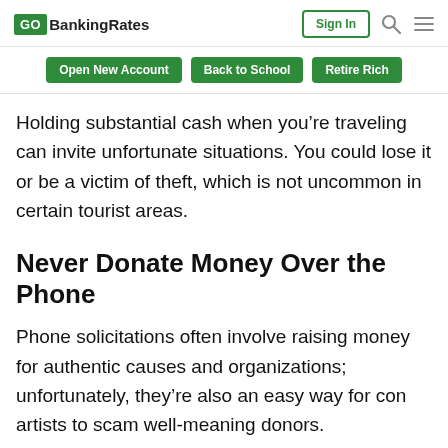GO BankingRates | Sign In
Open New Account | Back to School | Retire Rich
Holding substantial cash when you’re traveling can invite unfortunate situations. You could lose it or be a victim of theft, which is not uncommon in certain tourist areas.
Never Donate Money Over the Phone
Phone solicitations often involve raising money for authentic causes and organizations; unfortunately, they’re also an easy way for con artists to scam well-meaning donors.